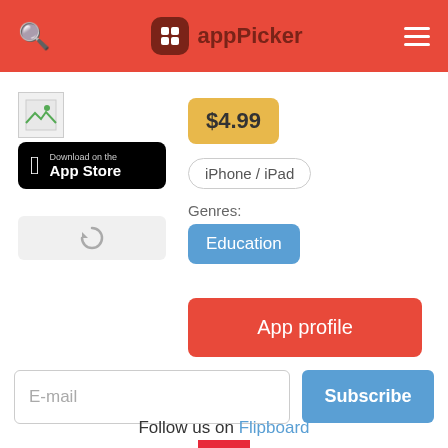appPicker
[Figure (screenshot): App icon placeholder image (broken image)]
[Figure (illustration): Download on the App Store button (black rounded rectangle with Apple logo)]
[Figure (illustration): Refresh/reload icon button (gray rounded rectangle with circular arrow)]
$4.99
iPhone / iPad
Genres:
Education
App profile
E-mail
Subscribe
Follow us on Flipboard
[Figure (logo): Flipboard logo: red square with white stylized F]